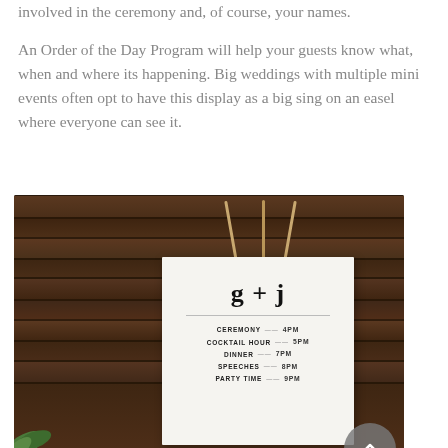involved in the ceremony and, of course, your names.
An Order of the Day Program will help your guests know what, when and where its happening. Big weddings with multiple mini events often opt to have this display as a big sing on an easel where everyone can see it.
[Figure (photo): A white wedding order-of-the-day sign on a small wooden easel, mounted against a dark wood plank wall background. The sign reads 'g + j' at the top and lists: CEREMONY 4pm, COCKTAIL HOUR 5pm, DINNER 7pm, SPEECHES 8pm, PARTY TIME 9pm. There are scroll-up and chat buttons overlaid on the right side.]